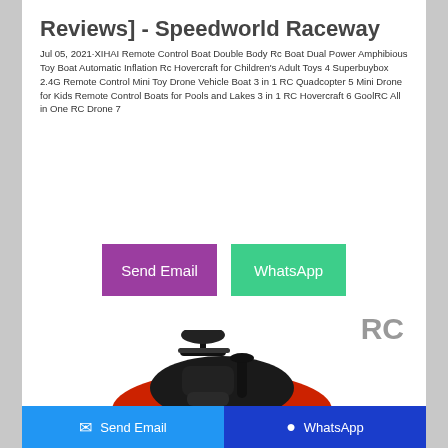Reviews] - Speedworld Raceway
Jul 05, 2021·XIHAI Remote Control Boat Double Body Rc Boat Dual Power Amphibious Toy Boat Automatic Inflation Rc Hovercraft for Children's Adult Toys 4 Superbuybox 2.4G Remote Control Mini Toy Drone Vehicle Boat 3 in 1 RC Quadcopter 5 Mini Drone for Kids Remote Control Boats for Pools and Lakes 3 in 1 RC Hovercraft 6 GoolRC All in One RC Drone 7
[Figure (other): Send Email button (purple) and WhatsApp button (green)]
RC
[Figure (photo): RC car toy - red and black ride-on car viewed from above/front angle]
Send Email   WhatsApp